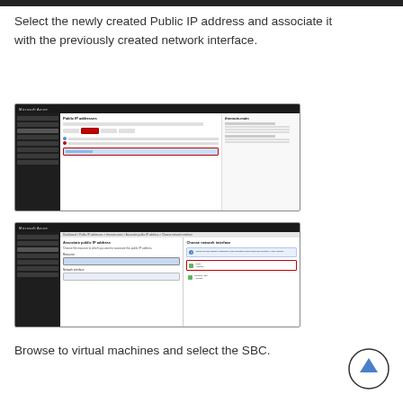[Figure (screenshot): Partial screenshot at top of page showing Azure portal Public IP addresses interface]
Select the newly created Public IP address and associate it with the previously created network interface.
[Figure (screenshot): Microsoft Azure portal screenshot showing Public IP addresses panel with an item selected highlighted in red border]
[Figure (screenshot): Microsoft Azure portal screenshot showing Associate public IP address panel and Choose network interface panel with a network interface selected highlighted in red]
Browse to virtual machines and select the SBC.